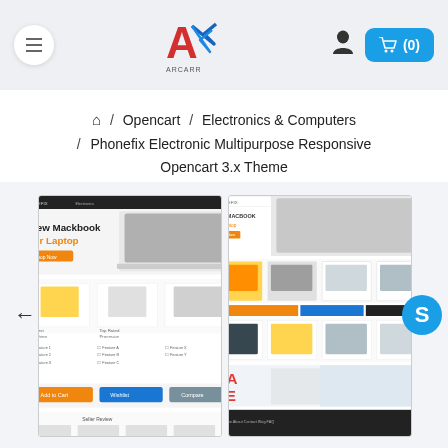Navigation header with menu, logo, user icon, and cart button showing (0) items
🏠 / Opencart / Electronics & Computers / Phonefix Electronic Multipurpose Responsive Opencart 3.x Theme
[Figure (screenshot): Two screenshots of the Phonefix Electronic Multipurpose Responsive Opencart 3.x Theme showing laptop/electronics store layouts with products, banners, and navigation]